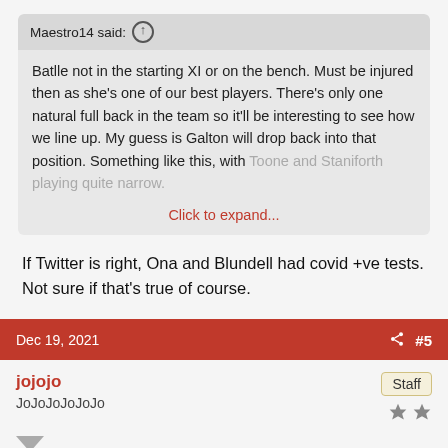Maestro14 said: ↑
Batlle not in the starting XI or on the bench. Must be injured then as she's one of our best players. There's only one natural full back in the team so it'll be interesting to see how we line up. My guess is Galton will drop back into that position. Something like this, with Toone and Staniforth playing quite narrow.
Click to expand...
If Twitter is right, Ona and Blundell had covid +ve tests. Not sure if that's true of course.
Dec 19, 2021  #5
jojojo
JoJoJoJoJoJo
Staff